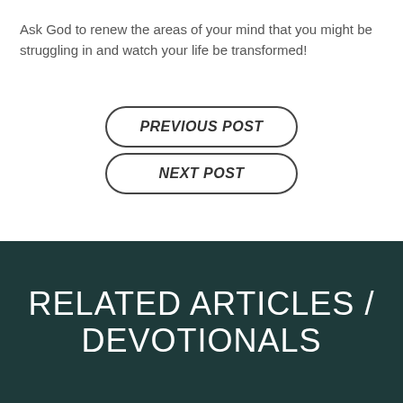Ask God to renew the areas of your mind that you might be struggling in and watch your life be transformed!
PREVIOUS POST
NEXT POST
RELATED ARTICLES / DEVOTIONALS